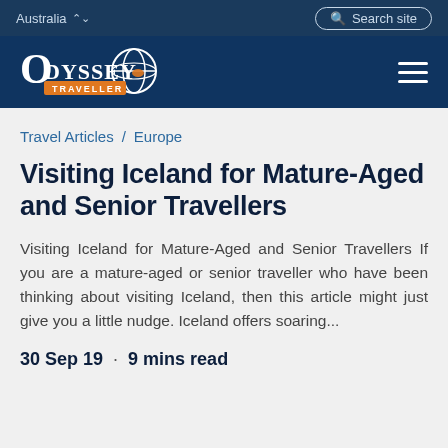Australia  Search site
[Figure (logo): Odyssey Traveller logo — white text on dark navy background with globe icon]
Travel Articles / Europe
Visiting Iceland for Mature-Aged and Senior Travellers
Visiting Iceland for Mature-Aged and Senior Travellers If you are a mature-aged or senior traveller who have been thinking about visiting Iceland, then this article might just give you a little nudge. Iceland offers soaring...
30 Sep 19  ·  9 mins read